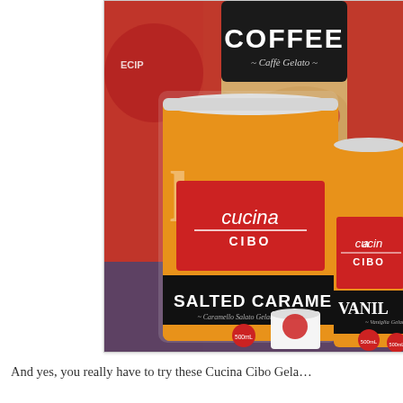[Figure (photo): Photo of Cucina Cibo gelato containers on a shelf. Front center is Salted Caramel (Caramello Salato Gelato) in an orange/white container with red Cucina Cibo label. Behind it is a Coffee (Caffè Gelato) container with black label. To the right is Vanilla (Vaniglia Gelato) in a similar container. All are 500mL tubs with red branded Cucina Cibo labels.]
And yes, you really have to try these Cucina Cibo Gela…